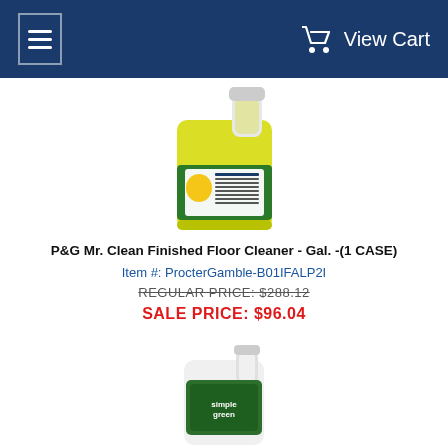View Cart
[Figure (photo): Yellow gallon jug of P&G Mr. Clean Finished Floor Cleaner with blue and green label]
P&G Mr. Clean Finished Floor Cleaner - Gal. -(1 CASE)
Item #: ProcterGamble-B01IFALP2I
REGULAR PRICE: $288.12
SALE PRICE: $96.04
[Figure (photo): White gallon jug of Simple Green cleaner with green label]